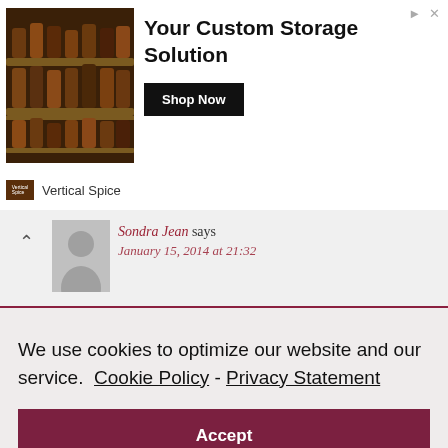[Figure (screenshot): Advertisement banner for 'Vertical Spice' showing a kitchen spice rack storage unit image on the left, headline 'Your Custom Storage Solution' with a black 'Shop Now' button, and the Vertical Spice brand name below.]
Sondra Jean says
January 15, 2014 at 21:32
We use cookies to optimize our website and our service.  Cookie Policy - Privacy Statement
Accept
April Ward-Scales says
January 15, 2014 at 23:29